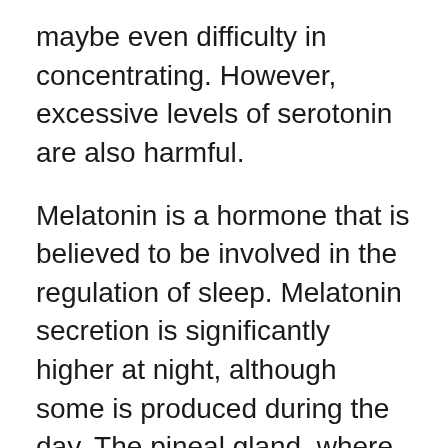maybe even difficulty in concentrating. However, excessive levels of serotonin are also harmful.
Melatonin is a hormone that is believed to be involved in the regulation of sleep. Melatonin secretion is significantly higher at night, although some is produced during the day. The pineal gland, where melatonin is produced, functions as a biological clock by increasing its output of melatonin at night by more than ten times. This increase in secretion begins around sunset and reaches a peak at around 2 a.m. After this peak, it falls to a low level by the time of sunrise.